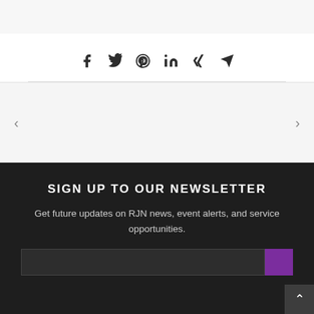[Figure (other): Social share icons: Facebook, Twitter, Pinterest, LinkedIn, Xing, Email/Send]
SIGN UP TO OUR NEWSLETTER
Get future updates on RJN news, event alerts, and service opportunities.